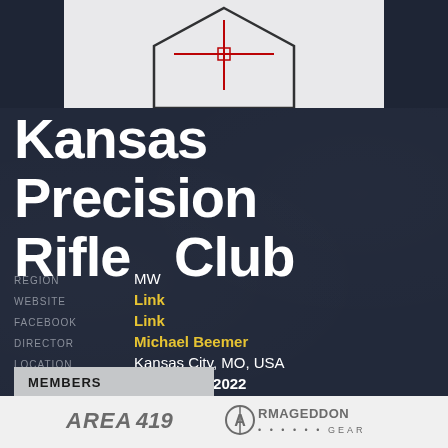[Figure (illustration): Top portion of a rifle scope reticle shown against white background, with hexagonal outline and red center crosshair]
Kansas Precision Rifle Club
REGION: MW
WEBSITE: Link
FACEBOOK: Link
DIRECTOR: Michael Beemer
LOCATION: Kansas City, MO, USA
SEASON: 2020 2021 2022
MEMBERS 1226
[Figure (logo): Area 419 logo in gray text on light background]
[Figure (logo): Armageddon Gear logo with circular A symbol in gray on light background]